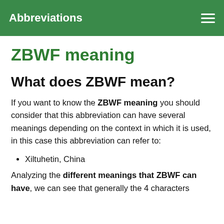Abbreviations
ZBWF meaning
What does ZBWF mean?
If you want to know the ZBWF meaning you should consider that this abbreviation can have several meanings depending on the context in which it is used, in this case this abbreviation can refer to:
Xiltuhetin, China
Analyzing the different meanings that ZBWF can have, we can see that generally the 4 characters